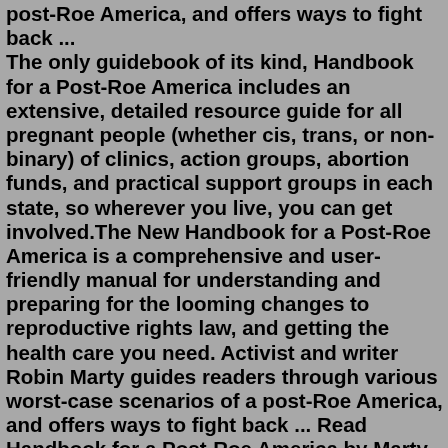post-Roe America, and offers ways to fight back ... The only guidebook of its kind, Handbook for a Post-Roe America includes an extensive, detailed resource guide for all pregnant people (whether cis, trans, or non-binary) of clinics, action groups, abortion funds, and practical support groups in each state, so wherever you live, you can get involved.The New Handbook for a Post-Roe America is a comprehensive and user-friendly manual for understanding and preparing for the looming changes to reproductive rights law, and getting the health care you need. Activist and writer Robin Marty guides readers through various worst-case scenarios of a post-Roe America, and offers ways to fight back ... Read Handbook for a Post-Roe America by Marty, Robin, lexile & reading level: , (ISBN: 9781609809508). Book enhanced with curriculum aligned questions and activities, world class educational video clips & contextual action clips. In fact, author Robin Marty believes it's not a matter of if Roe will be overturned, it's a matter of when. For more than ten years, the